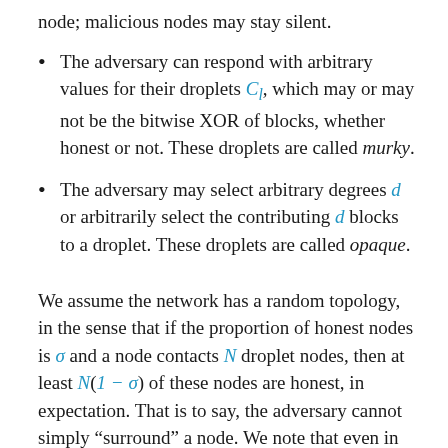node; malicious nodes may stay silent.
The adversary can respond with arbitrary values for their droplets C_l, which may or may not be the bitwise XOR of blocks, whether honest or not. These droplets are called murky.
The adversary may select arbitrary degrees d or arbitrarily select the contributing d blocks to a droplet. These droplets are called opaque.
We assume the network has a random topology, in the sense that if the proportion of honest nodes is σ and a node contacts N droplet nodes, then at least N(1 − σ) of these nodes are honest, in expectation. That is to say, the adversary cannot simply “surround” a node. We note that even in the